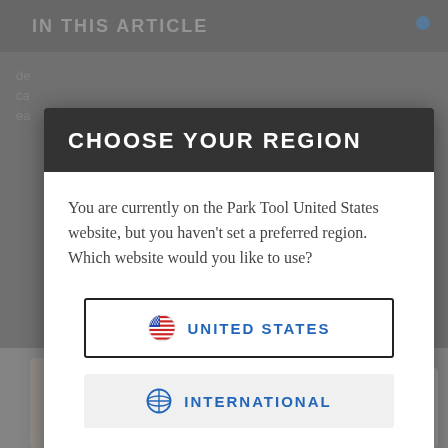[Figure (screenshot): Background website page with 'IN THIS ARTICLE' header and grayed content, partially obscured by a modal dialog]
CHOOSE YOUR REGION
You are currently on the Park Tool United States website, but you haven't set a preferred region. Which website would you like to use?
UNITED STATES
INTERNATIONAL